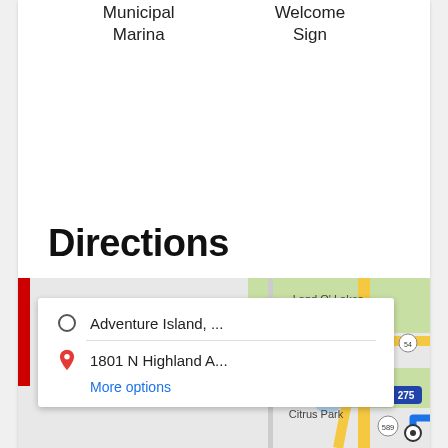Municipal Marina
Welcome Sign
Directions
[Figure (map): Google Maps screenshot showing directions from Adventure Island to 1801 N Highland Ave, with a popup showing origin 'Adventure Island, ...' and destination '1801 N Highland A...' with a 'More options' link. Map shows Land O' Lakes, Lutz, Citrus Park area with route highlighted in blue, roads including I-275 and SR-589.]